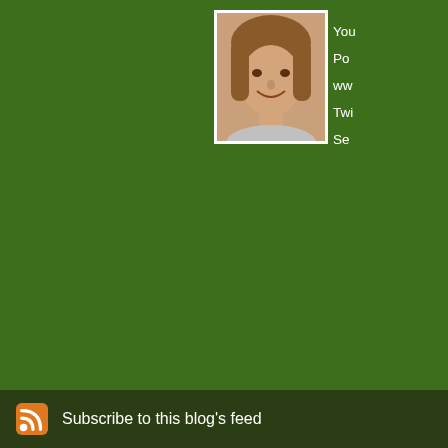[Figure (photo): Profile photo of a woman with shoulder-length brown/blonde hair, smiling, shown from shoulders up]
You
Po
ww
Twi
Se
The comments to t
P
Ra! Ra! Really? I h mothers of outdoor a fat kid than sit ou
Subscribe to this blog's feed